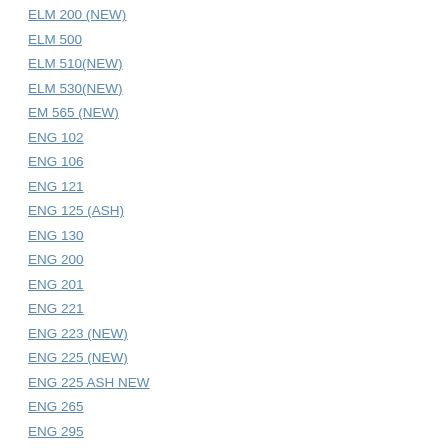ELM 200 (NEW)
ELM 500
ELM 510(NEW)
ELM 530(NEW)
EM 565 (NEW)
ENG 102
ENG 106
ENG 121
ENG 125 (ASH)
ENG 130
ENG 200
ENG 201
ENG 221
ENG 223 (NEW)
ENG 225 (NEW)
ENG 225 ASH NEW
ENG 265
ENG 295
ENG 302